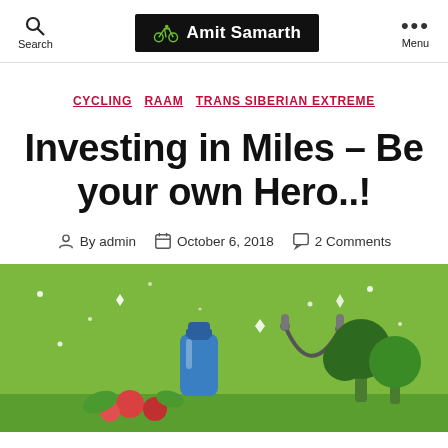Search | Amit Samarth | Menu
CYCLING  RAAM  TRANS SIBERIAN EXTREME
Investing in Miles – Be your own Hero..!
By admin  October 6, 2018  2 Comments
[Figure (illustration): Green illustrated scene with fitness equipment: water bottle, jump rope, trees, sparkles on a green background]